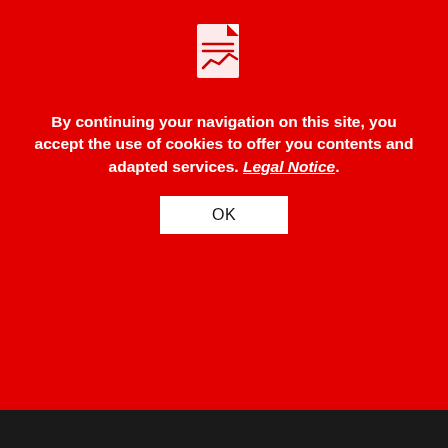[Figure (screenshot): Cookie consent overlay on a red background with a document/chart icon at top, bold white text about cookie policy, a Legal Notice link, and an OK button.]
[Figure (photo): Dark photo of a man at computer screens, with CNA logo watermark overlaid in white.]
File photo of a man looking at the computer screen. (Photo: Xabryna Kek)
SINGAPORE: Police have received several reports of people being tricked by phishing emails since Jan 5, the Singapore Police Force (SPF) said in an advisory on Tuesday (Jan 17).
Victims would receive an email purportedly from their